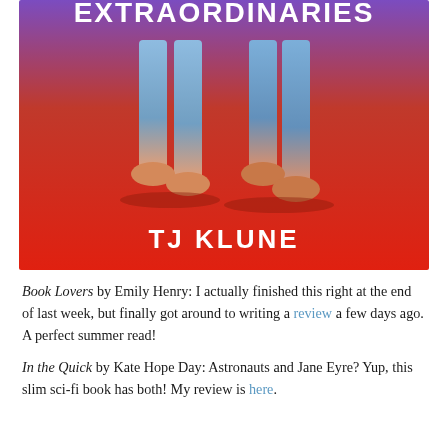[Figure (illustration): Book cover of 'The Extraordinaries' by TJ Klune. Red-to-purple gradient background with two figures standing (only legs visible from waist down), wearing jeans and sneakers. Title text 'EXTRAORDINARIES' in white at the top and 'TJ KLUNE' in white at the bottom.]
Book Lovers by Emily Henry: I actually finished this right at the end of last week, but finally got around to writing a review a few days ago. A perfect summer read!
In the Quick by Kate Hope Day: Astronauts and Jane Eyre? Yup, this slim sci-fi book has both! My review is here.